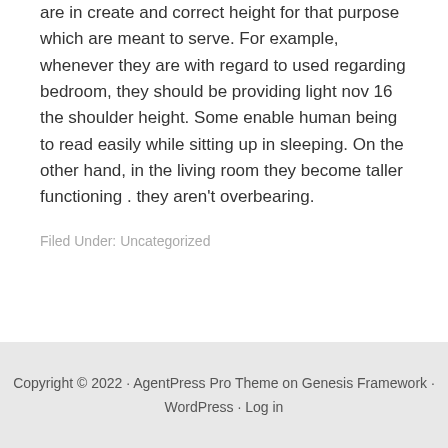are in create and correct height for that purpose which are meant to serve. For example, whenever they are with regard to used regarding bedroom, they should be providing light nov 16 the shoulder height. Some enable human being to read easily while sitting up in sleeping. On the other hand, in the living room they become taller functioning . they aren't overbearing.
Filed Under: Uncategorized
Copyright © 2022 · AgentPress Pro Theme on Genesis Framework · WordPress · Log in